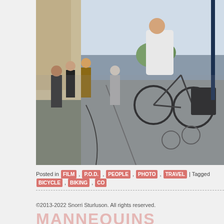[Figure (photo): Street scene with people and cyclists on a busy urban road. A man in a white shirt rides a bicycle in the foreground with panniers, and other cyclists and pedestrians are visible in the background along a European city street.]
Posted in FILM, P.O.D., PEOPLE, PHOTO, TRAVEL | Tagged BICYCLE, BIKING, CO...
©2013-2022 Snorri Sturluson. All rights reserved.
MANNEQUINS